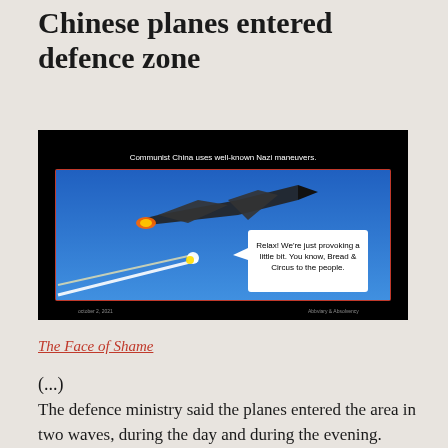Chinese planes entered defence zone
[Figure (photo): Meme image on black background showing a military jet fighter firing flares with caption bubble reading 'Relax! We're just provoking a little bit. You know, Bread & Circus to the people.' and text above the framed image: 'Communist China uses well-known Nazi maneuvers.']
The Face of Shame
(...)
The defence ministry said the planes entered the area in two waves, during the day and during the evening.